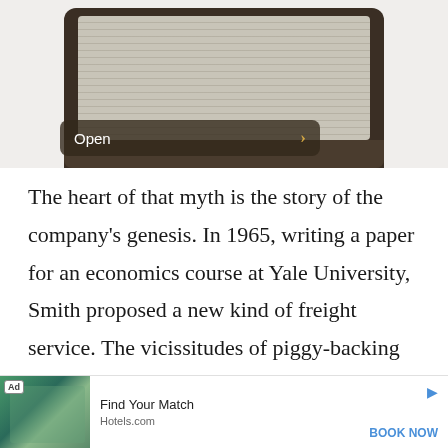[Figure (photo): Screenshot of a laptop computer displaying a spreadsheet or data table on screen, shown from an angle. A dark brownish overlay bar at the bottom reads 'Open' with a right-pointing arrow.]
The heart of that myth is the story of the company's genesis. In 1965, writing a paper for an economics course at Yale University, Smith proposed a new kind of freight service. The vicissitudes of piggy-backing air freight onto passenger service, he argued, created an opportunity for a company totally dedicated to sn
[Figure (screenshot): Advertisement banner: Hotels.com ad with a tropical resort pool image, text 'Find Your Match', source 'Hotels.com', and call-to-action 'BOOK NOW' in blue.]